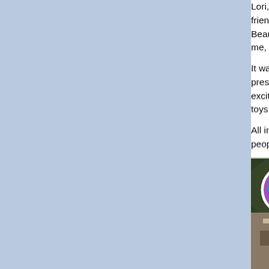Lori, the one who adopted Santina from m... friends. Lori really enjoyed the Palooza an... Beautiful Parrots. Great time!! She was th... me, I enjoyed meeting instagram people."
It was a thrill getting to meet so many fans... presentations were routine but enthusiastic... exciting trick training can be and Truman a... toys.
All in all, it was an exciting event, great foo... people to be excited about their pet parrots...
[Figure (photo): Video thumbnail showing Parrot Palooza 2018 featuring a circular profile icon of a person in purple costume with parrots, text 'Parrot Palooza 2018 Feat', outdoor scene with people seated at tables on the left, and a large colorful mural of a parrot (African Grey) with blue/green/pink feathers on the right.]